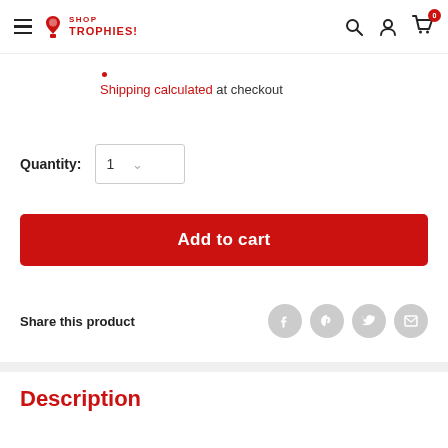Shop Trophies - navigation header with hamburger menu, logo, search, account, and cart icons
Shipping calculated at checkout
Quantity: 1
Add to cart
Share this product
Description